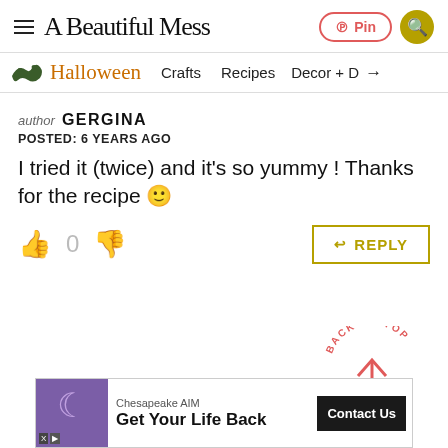A Beautiful Mess — Pin | Search
Halloween | Crafts | Recipes | Decor +
author GERGINA
POSTED: 6 YEARS AGO
I tried it (twice) and it's so yummy ! Thanks for the recipe 🙂
👍 0 👎  REPLY | BACK TO TOP
[Figure (screenshot): Advertisement banner: Chesapeake AIM – Get Your Life Back | Contact Us button]
Chesapeake AIM — Get Your Life Back — Contact Us